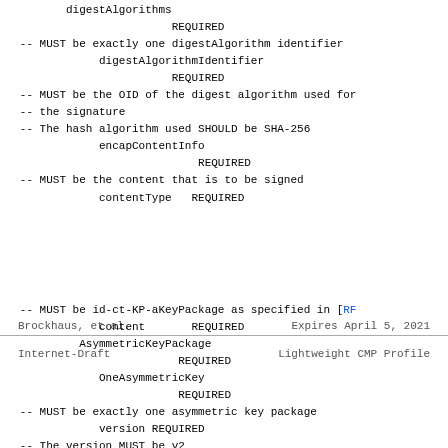digestAlgorithms
                        REQUIRED
   -- MUST be exactly one digestAlgorithm identifier
               digestAlgorithmIdentifier
                        REQUIRED
   -- MUST be the OID of the digest algorithm used for
   -- the signature
   -- The hash algorithm used SHOULD be SHA-256
               encapContentInfo
                              REQUIRED
   -- MUST be the content that is to be signed
               contentType   REQUIRED
Brockhaus, et al.          Expires April 5, 2021
Internet-Draft             Lightweight CMP Profile
-- MUST be id-ct-KP-aKeyPackage as specified in [RF
               content       REQUIRED
            AsymmetricKeyPackage
                           REQUIRED
               OneAsymmetricKey
                           REQUIRED
   -- MUST be exactly one asymmetric key package
               version REQUIRED
   -- The version MUST be v2
               privateKeyAlgorithm